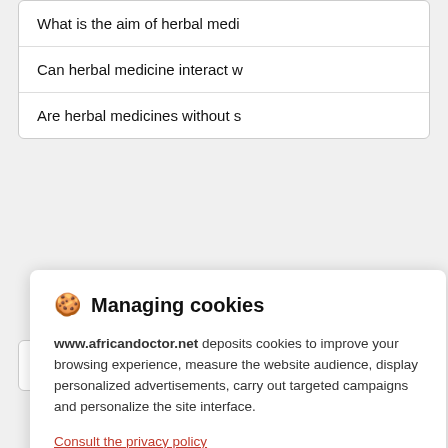What is the aim of herbal medi
Can herbal medicine interact w
Are herbal medicines without s
Recent articles
🍪 Managing cookies
www.africandoctor.net deposits cookies to improve your browsing experience, measure the website audience, display personalized advertisements, carry out targeted campaigns and personalize the site interface.
Consult the privacy policy
Refuse   Settings   Accept